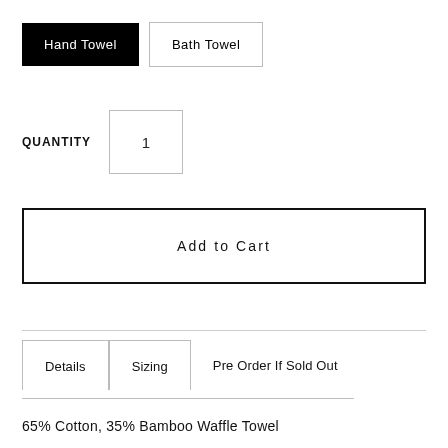Hand Towel
Bath Towel
QUANTITY   1
Add to Cart
Details
Sizing
Pre Order If Sold Out
65% Cotton, 35% Bamboo Waffle Towel